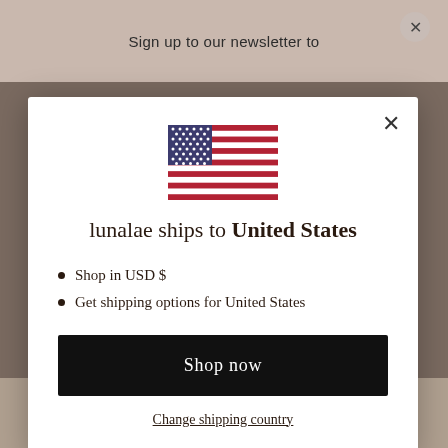Sign up to our newsletter to
[Figure (screenshot): A modal dialog showing a US flag, shipping country selection for United States with options to shop in USD $ and get shipping options for United States, a black Shop now button, and a Change shipping country link.]
lunalae ships to United States
Shop in USD $
Get shipping options for United States
Shop now
Change shipping country
*By entering your phone number, you consent to receive marketing text messages from Lunolae, you can opt out at any time. Enter your birthday to receive a special gift on your birthday!